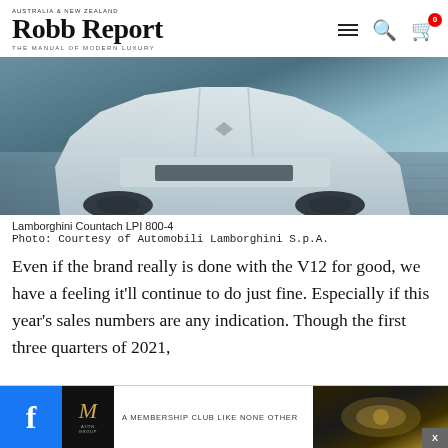Robb Report — THE MANUAL OF MODERN LUXURY — AUSTRALIA & NEW ZEALAND
[Figure (photo): Front low-angle view of a white Lamborghini Countach LPI 800-4 on a tiled showroom floor, blue-tinted image]
Lamborghini Countach LPI 800-4
Photo: Courtesy of Automobili Lamborghini S.p.A.
Even if the brand really is done with the V12 for good, we have a feeling it'll continue to do just fine. Especially if this year's sales numbers are any indication. Though the first three quarters of 2021, sales are up by 23 per cent compared to the same
[Figure (screenshot): Advertisement banner at bottom: Facebook icon on left, M membership club logo, text 'A MEMBERSHIP CLUB LIKE NONE OTHER', luxury interior photo on right with X close button]